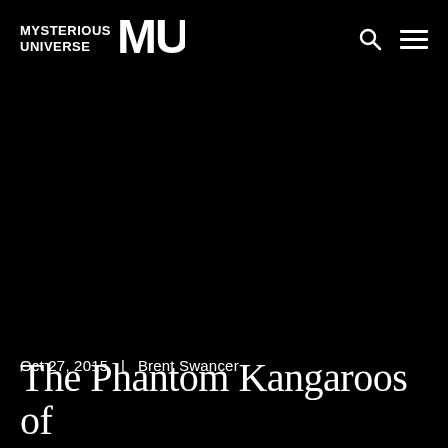MYSTERIOUS UNIVERSE
[Figure (photo): Dark black hero image background for article]
Oct 27, 2015  |  Brent Swancer
The Phantom Kangaroos of